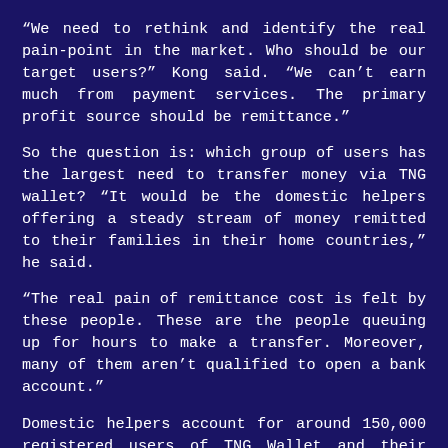“We need to rethink and identify the real pain-point in the market. Who should be our target users?” Kong said. “We can’t earn much from payment services. The primary profit source should be remittance.”
So the question is: which group of users has the largest need to transfer money via TNG wallet? “It would be the domestic helpers offering a steady stream of money remitted to their families in their home countries,” he said.
“The real pain of remittance cost is felt by these people. These are the people queuing up for hours to make a transfer. Moreover, many of them aren’t qualified to open a bank account.”
Domestic helpers account for around 150,000 registered users of TNG Wallet and their per-customer transaction volume has reached HK$4,000 each month. “We have high penetration in this group of customers as they are closely connected to each other.”